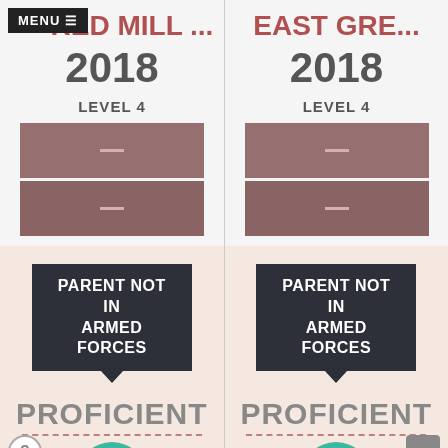RED MILL ...
EAST GRE...
2018
2018
LEVEL 4
LEVEL 4
[Figure (infographic): Two stacked mauve/brown bars with white dash marks, representing suppressed or unavailable data for Red Mill school Level 4]
[Figure (infographic): Two stacked mauve/brown bars with white dash marks, representing suppressed or unavailable data for East Gre... school Level 4]
PARENT NOT IN ARMED FORCES
PARENT NOT IN ARMED FORCES
PROFICIENT
PROFICIENT